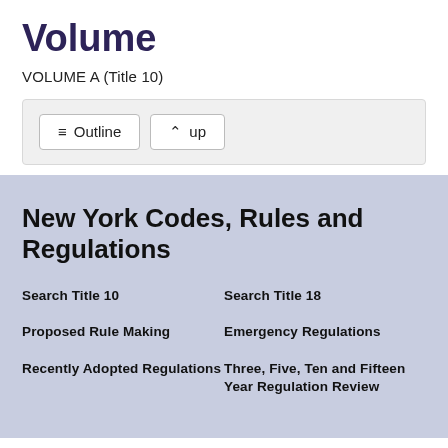Volume
VOLUME A (Title 10)
[Figure (screenshot): Navigation toolbar with two buttons: 'Outline' (with list icon) and 'up' (with caret icon), on a light gray background panel.]
New York Codes, Rules and Regulations
Search Title 10
Search Title 18
Proposed Rule Making
Emergency Regulations
Recently Adopted Regulations
Three, Five, Ten and Fifteen Year Regulation Review